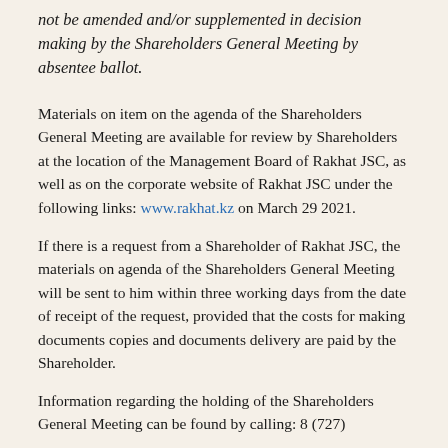not be amended and/or supplemented in decision making by the Shareholders General Meeting by absentee ballot.
Materials on item on the agenda of the Shareholders General Meeting are available for review by Shareholders at the location of the Management Board of Rakhat JSC, as well as on the corporate website of Rakhat JSC under the following links: www.rakhat.kz on March 29 2021.
If there is a request from a Shareholder of Rakhat JSC, the materials on agenda of the Shareholders General Meeting will be sent to him within three working days from the date of receipt of the request, provided that the costs for making documents copies and documents delivery are paid by the Shareholder.
Information regarding the holding of the Shareholders General Meeting can be found by calling: 8 (727)